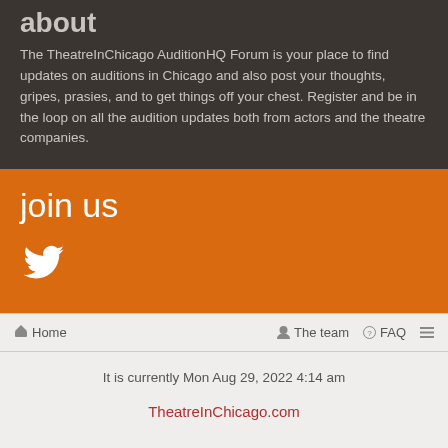about
The TheatreInChicago AuditionHQ Forum is your place to find updates on auditions in Chicago and also post your thoughts, gripes, prasies, and to get things off your chest. Register and be in the loop on all the audition updates both from actors and the theatre companies.
join us
[Figure (illustration): Twitter bird icon in white on orange background]
Home   The team   FAQ
It is currently Mon Aug 29, 2022 4:14 am
TheatreInChicago.com